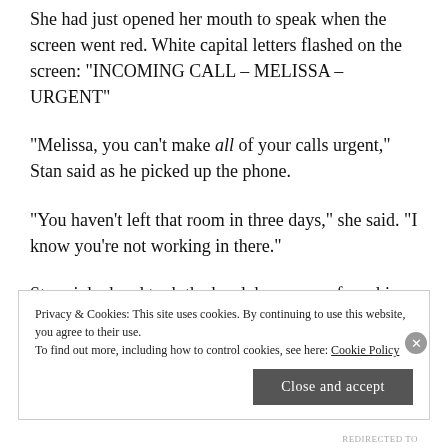She had just opened her mouth to speak when the screen went red. White capital letters flashed on the screen: "INCOMING CALL – MELISSA – URGENT"
"Melissa, you can't make all of your calls urgent," Stan said as he picked up the phone.
"You haven't left that room in three days," she said. "I know you're not working in there."
Stan sighed and took the headphone away from his ear. He could hear the small, tinny sound of Melissa
Privacy & Cookies: This site uses cookies. By continuing to use this website, you agree to their use.
To find out more, including how to control cookies, see here: Cookie Policy
Close and accept